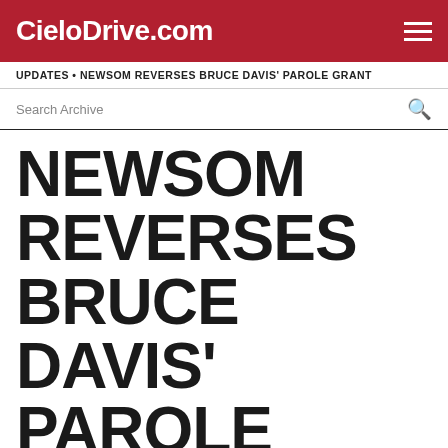CieloDrive.com
UPDATES • NEWSOM REVERSES BRUCE DAVIS' PAROLE GRANT
Search Archive
NEWSOM REVERSES BRUCE DAVIS' PAROLE GRANT
FRIDAY, JUNE 18TH, 2021
GOVERNOR NEWSOM'S RULING